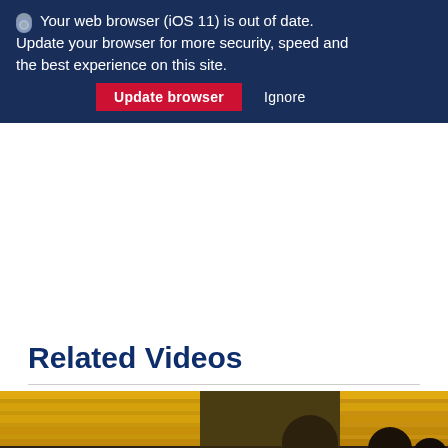Your web browser (iOS 11) is out of date. Update your browser for more security, speed and the best experience on this site. [Update browser] [Ignore]
Related Videos
[Figure (photo): Photo of people in what appears to be a gymnasium or sports facility with yellow bleachers in the background]